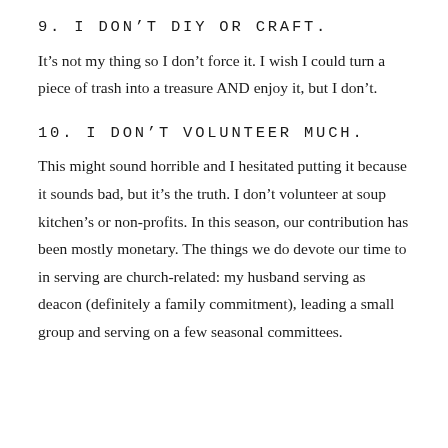9. I DON'T DIY OR CRAFT.
It's not my thing so I don't force it. I wish I could turn a piece of trash into a treasure AND enjoy it, but I don't.
10. I DON'T VOLUNTEER MUCH.
This might sound horrible and I hesitated putting it because it sounds bad, but it's the truth. I don't volunteer at soup kitchen's or non-profits. In this season, our contribution has been mostly monetary. The things we do devote our time to in serving are church-related: my husband serving as deacon (definitely a family commitment), leading a small group and serving on a few seasonal committees.